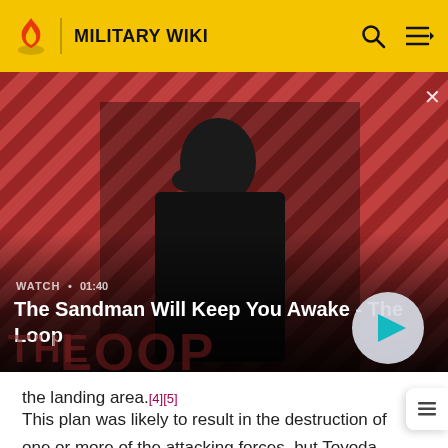MILITARY WIKI
[Figure (screenshot): Video thumbnail showing a dark-cloaked figure with a raven on their shoulder against a red and black diagonal striped background. Title text reads 'The Sandman Will Keep You Awake - The Loop'. Watch time shown as 01:40. Play button visible on right.]
the landing area.[4][5]
This plan was likely to result in the destruction of one or more of the attacking forces, but Toyoda later explained this to his American interrogators as follows: